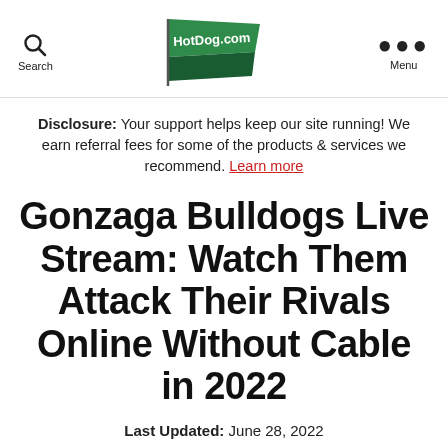Search | HotDog.com | Menu
Disclosure: Your support helps keep our site running! We earn referral fees for some of the products & services we recommend. Learn more
Gonzaga Bulldogs Live Stream: Watch Them Attack Their Rivals Online Without Cable in 2022
Last Updated: June 28, 2022